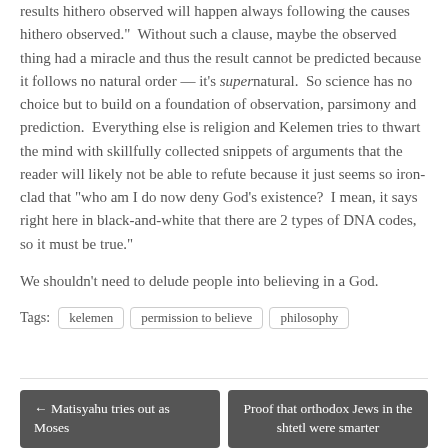results hithero observed will happen always following the causes hithero observed."  Without such a clause, maybe the observed thing had a miracle and thus the result cannot be predicted because it follows no natural order — it's supernatural.  So science has no choice but to build on a foundation of observation, parsimony and prediction.  Everything else is religion and Kelemen tries to thwart the mind with skillfully collected snippets of arguments that the reader will likely not be able to refute because it just seems so iron-clad that "who am I do now deny God's existence?  I mean, it says right here in black-and-white that there are 2 types of DNA codes, so it must be true."
We shouldn't need to delude people into believing in a God.
Tags: kelemen | permission to believe | philosophy
← Matisyahu tries out as Moses | Proof that orthodox Jews in the shtetl were smarter